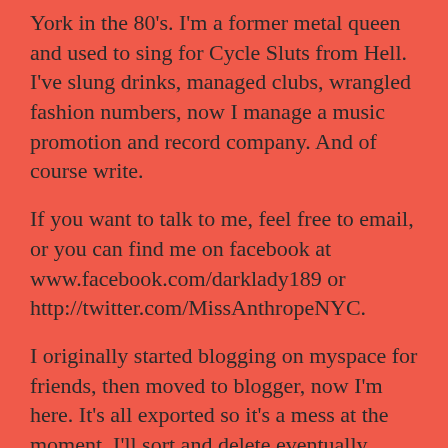York in the 80's. I'm a former metal queen and used to sing for Cycle Sluts from Hell. I've slung drinks, managed clubs, wrangled fashion numbers, now I manage a music promotion and record company. And of course write.
If you want to talk to me, feel free to email, or you can find me on facebook at www.facebook.com/darklady189 or http://twitter.com/MissAnthropeNYC.
I originally started blogging on myspace for friends, then moved to blogger, now I'm here. It's all exported so it's a mess at the moment. I'll sort and delete eventually. Thanks for reading.